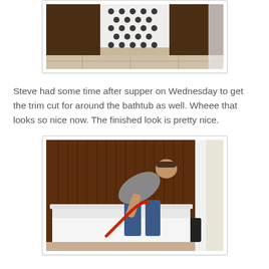[Figure (photo): Top portion of a bathroom photo showing dark wood cabinetry and a white decorative vent/grate on the wall, with tile flooring visible.]
Steve had some time after supper on Wednesday to get the trim cut for around the bathtub as well. Wheee that looks so nice now.  The finished look is pretty nice.
[Figure (photo): A person bending over a white bathtub, using a tool with a red hose/cord, with dark wood bead-board paneling on the walls in the background.]
There was some concern from some comments about having some other wall by the tub. Well, it that...